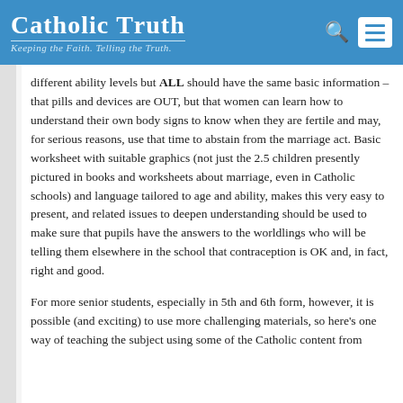Catholic Truth — Keeping the Faith. Telling the Truth.
different ability levels but ALL should have the same basic information – that pills and devices are OUT, but that women can learn how to understand their own body signs to know when they are fertile and may, for serious reasons, use that time to abstain from the marriage act. Basic worksheet with suitable graphics (not just the 2.5 children presently pictured in books and worksheets about marriage, even in Catholic schools) and language tailored to age and ability, makes this very easy to present, and related issues to deepen understanding should be used to make sure that pupils have the answers to the worldlings who will be telling them elsewhere in the school that contraception is OK and, in fact, right and good.
For more senior students, especially in 5th and 6th form, however, it is possible (and exciting) to use more challenging materials, so here's one way of teaching the subject using some of the Catholic content from